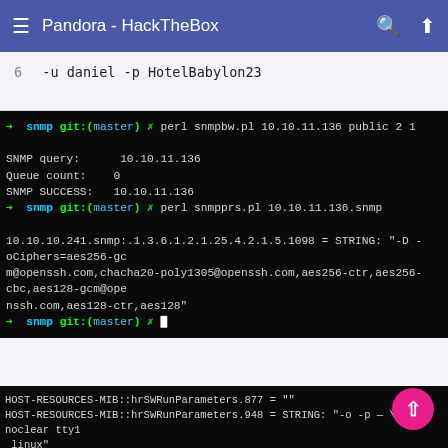Pandora - HackTheBox
6    -u daniel -p HotelBabylon23
[Figure (screenshot): Terminal output showing SNMP queries: 'perl snmpbw.pl 10.10.11.136 public 2 1', SNMP query result 10.10.11.136, Queue count 0, SNMP SUCCESS 10.10.11.136, then 'perl snmpprs.pl 10.10.11.136.snmp' with output showing 10.10.10.241.snmp:.1.3.6.1.2.1.25.4.2.1.5.1098 = STRING: cipher options for openssh]
[Figure (screenshot): Terminal output showing HOST-RESOURCES-MIB::hrSWRunParameters entries from .877 through .4156, several empty strings and some STRING values including -o -p -- \u --noclear tty1 linux, --no-debug, -u daniel -p [redacted], -k start entries]